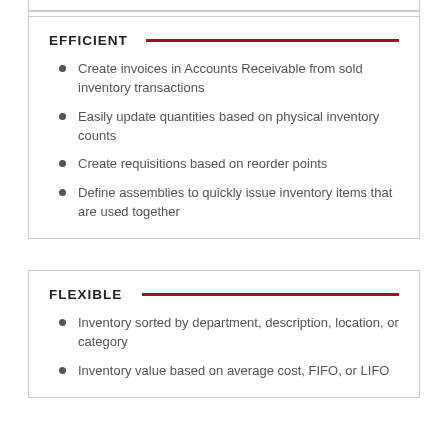EFFICIENT
Create invoices in Accounts Receivable from sold inventory transactions
Easily update quantities based on physical inventory counts
Create requisitions based on reorder points
Define assemblies to quickly issue inventory items that are used together
FLEXIBLE
Inventory sorted by department, description, location, or category
Inventory value based on average cost, FIFO, or LIFO